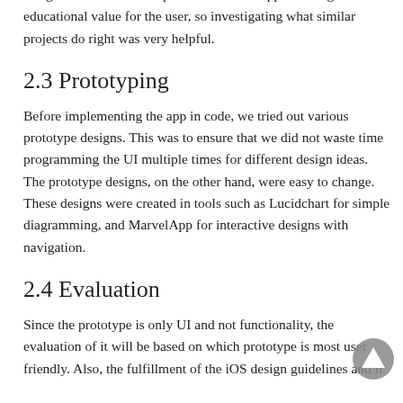design. It is of utmost importance that our app has a high educational value for the user, so investigating what similar projects do right was very helpful.
2.3 Prototyping
Before implementing the app in code, we tried out various prototype designs. This was to ensure that we did not waste time programming the UI multiple times for different design ideas. The prototype designs, on the other hand, were easy to change. These designs were created in tools such as Lucidchart for simple diagramming, and MarvelApp for interactive designs with navigation.
2.4 Evaluation
Since the prototype is only UI and not functionality, the evaluation of it will be based on which prototype is most user friendly. Also, the fulfillment of the iOS design guidelines and if